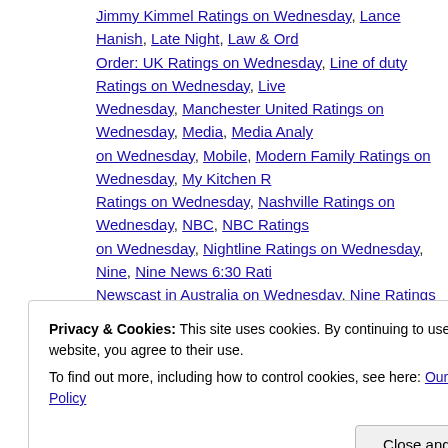Jimmy Kimmel Ratings on Wednesday, Lance Hanish, Late Night, Law & Order: UK Ratings on Wednesday, Line of duty Ratings on Wednesday, Live Wednesday, Manchester United Ratings on Wednesday, Media, Media Analysis on Wednesday, Mobile, Modern Family Ratings on Wednesday, My Kitchen Ratings on Wednesday, Nashville Ratings on Wednesday, NBC, NBC Ratings on Wednesday, Nightline Ratings on Wednesday, Nine, Nine News 6:30 Ratings Newscast in Australia on Wednesday, Nine Ratings on Wednesday, Olympiak Ratings on Wednesday, Secret Eaters Ratings on Wednesday, Seth Meyers Australia on Wednesday, Seven News Ratings on Wednesday, Seven News/ Seven Ratings on Wednesday, SKY1, Sky1 Ratings on Wednesday, Suburga Ratings on Wednesday, Telemundo, Telemundo Ratings on Wednesday, Tele Billboard Awards, Television, Television Ratings on Wednesday, The 100 Ratings on Wednesday, The CW, The CW Ratings on Wednesday, The Middle Rating TOWIE Ratings on Wednesday, TV, TV Ratings on Wednesday, Univision, Univision Ratings on Wednesday, You Saw Them Here First Ratings on Wednesday | L
Privacy & Cookies: This site uses cookies. By continuing to use this website, you agree to their use. To find out more, including how to control cookies, see here: Our Cookie Policy